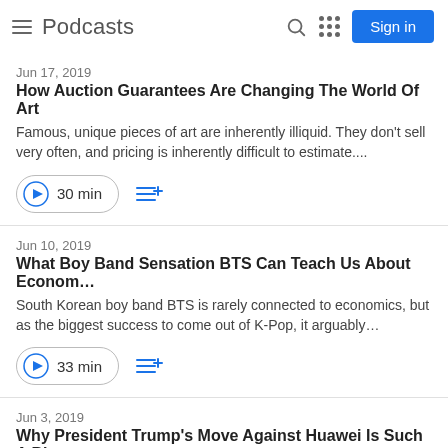Podcasts
Jun 17, 2019
How Auction Guarantees Are Changing The World Of Art
Famous, unique pieces of art are inherently illiquid. They don't sell very often, and pricing is inherently difficult to estimate....
30 min
Jun 10, 2019
What Boy Band Sensation BTS Can Teach Us About Econom…
South Korean boy band BTS is rarely connected to economics, but as the biggest success to come out of K-Pop, it arguably…
33 min
Jun 3, 2019
Why President Trump's Move Against Huawei Is Such A Big …
Earlier this month, President Trump escalated the trade tensions against China by limiting exports of U.S. technology…